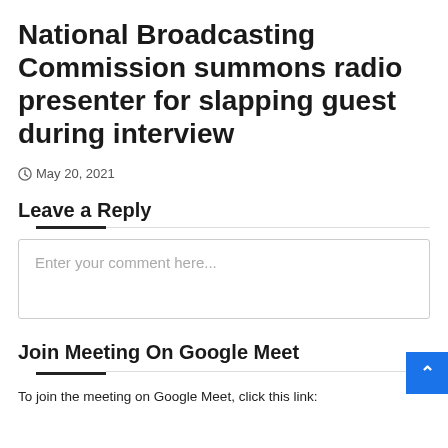National Broadcasting Commission summons radio presenter for slapping guest during interview
May 20, 2021
Leave a Reply
Enter your comment here...
Join Meeting On Google Meet
To join the meeting on Google Meet, click this link: